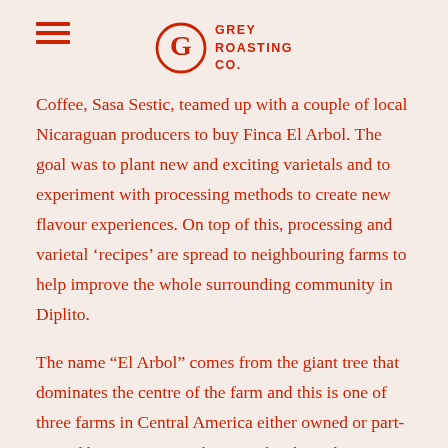GREY ROASTING CO.
Coffee, Sasa Sestic, teamed up with a couple of local Nicaraguan producers to buy Finca El Arbol. The goal was to plant new and exciting varietals and to experiment with processing methods to create new flavour experiences. On top of this, processing and varietal ‘recipes’ are spread to neighbouring farms to help improve the whole surrounding community in Diplito.
The name “El Arbol” comes from the giant tree that dominates the centre of the farm and this is one of three farms in Central America either owned or part-owned by Sasa. He works very closely with a company called Bridazul. “Brida” commonly refers to a cable tie or clamp but a more